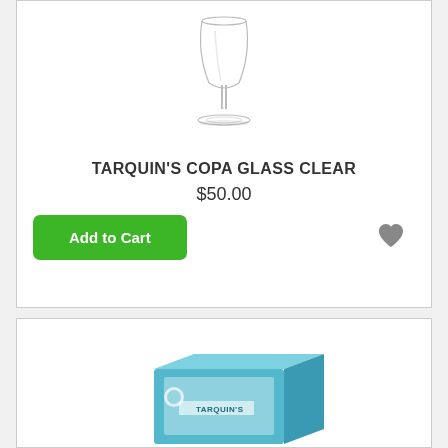[Figure (photo): A clear copa glass (tall, narrow bowl with wide foot) on white background]
TARQUIN'S COPA GLASS CLEAR
$50.00
[Figure (photo): A light blue Tarquin's product box on white background]